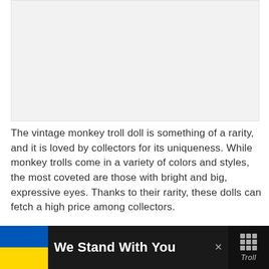[Figure (photo): Empty light gray image placeholder area at the top of the page]
The vintage monkey troll doll is something of a rarity, and it is loved by collectors for its uniqueness. While  monkey trolls come in a variety of colors and styles, the most coveted are those with bright and big, expressive eyes. Thanks to their rarity, these dolls can fetch a high price among collectors.
[Figure (infographic): Advertisement bar at the bottom: dark background with Ukrainian flag (blue and yellow), bold white text 'We Stand With You', close button X, and a logo with dots on the right side]